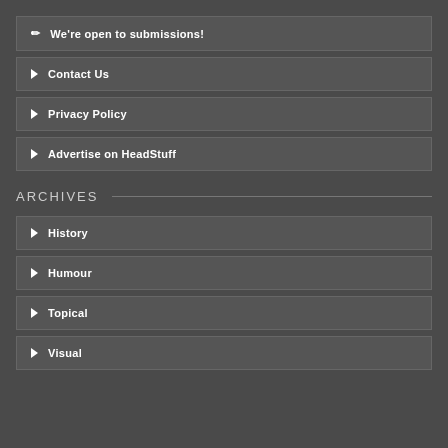✏ We're open to submissions!
▶ Contact Us
▶ Privacy Policy
▶ Advertise on HeadStuff
ARCHIVES
▶ History
▶ Humour
▶ Topical
▶ Visual